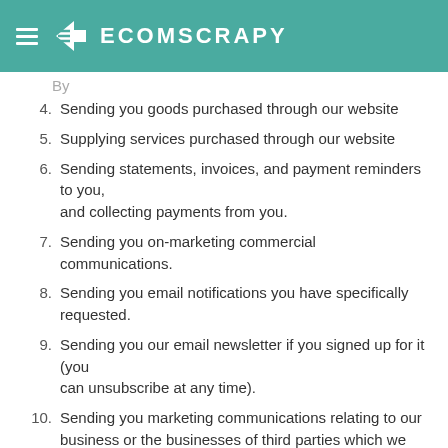ECOMSCRAPY
4. Sending you goods purchased through our website
5. Supplying services purchased through our website
6. Sending statements, invoices, and payment reminders to you, and collecting payments from you.
7. Sending you on-marketing commercial communications.
8. Sending you email notifications you have specifically requested.
9. Sending you our email newsletter if you signed up for it (you can unsubscribe at any time).
10. Sending you marketing communications relating to our business or the businesses of third parties which we think may be of interest to you.
11. Providing third parties with statistical information about our users.
12. Dealing with inquiries and complaints made by or about you